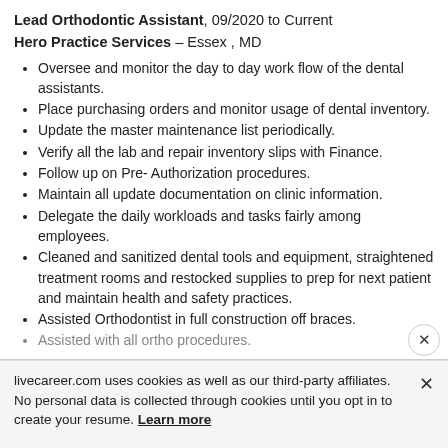Lead Orthodontic Assistant, 09/2020 to Current
Hero Practice Services – Essex , MD
Oversee and monitor the day to day work flow of the dental assistants.
Place purchasing orders and monitor usage of dental inventory.
Update the master maintenance list periodically.
Verify all the lab and repair inventory slips with Finance.
Follow up on Pre- Authorization procedures.
Maintain all update documentation on clinic information.
Delegate the daily workloads and tasks fairly among employees.
Cleaned and sanitized dental tools and equipment, straightened treatment rooms and restocked supplies to prep for next patient and maintain health and safety practices.
Assisted Orthodontist in full construction off braces.
Assisted with all ortho procedures.
livecareer.com uses cookies as well as our third-party affiliates. No personal data is collected through cookies until you opt in to create your resume. Learn more